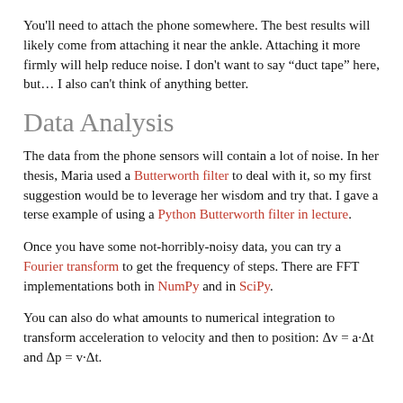You'll need to attach the phone somewhere. The best results will likely come from attaching it near the ankle. Attaching it more firmly will help reduce noise. I don't want to say “duct tape” here, but… I also can't think of anything better.
Data Analysis
The data from the phone sensors will contain a lot of noise. In her thesis, Maria used a Butterworth filter to deal with it, so my first suggestion would be to leverage her wisdom and try that. I gave a terse example of using a Python Butterworth filter in lecture.
Once you have some not-horribly-noisy data, you can try a Fourier transform to get the frequency of steps. There are FFT implementations both in NumPy and in SciPy.
You can also do what amounts to numerical integration to transform acceleration to velocity and then to position: Δv = a·Δt and Δp = v·Δt.